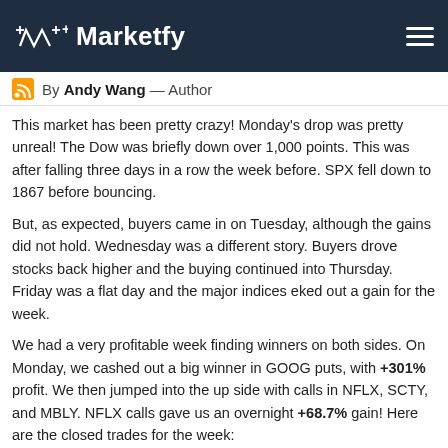Marketfy
By Andy Wang — Author
This market has been pretty crazy! Monday's drop was pretty unreal! The Dow was briefly down over 1,000 points. This was after falling three days in a row the week before. SPX fell down to 1867 before bouncing.
But, as expected, buyers came in on Tuesday, although the gains did not hold. Wednesday was a different story. Buyers drove stocks back higher and the buying continued into Thursday. Friday was a flat day and the major indices eked out a gain for the week.
We had a very profitable week finding winners on both sides. On Monday, we cashed out a big winner in GOOG puts, with +301% profit. We then jumped into the up side with calls in NFLX, SCTY, and MBLY. NFLX calls gave us an overnight +68.7% gain! Here are the closed trades for the week:
| Symbology | Exit | P/L ($) | P/L (%) | Exit Date |
| --- | --- | --- | --- | --- |
| WYNN Sep 11 2015 Call 75.000 | $5.3587 | $116.90 | 2.23% | 08/28/2015 |